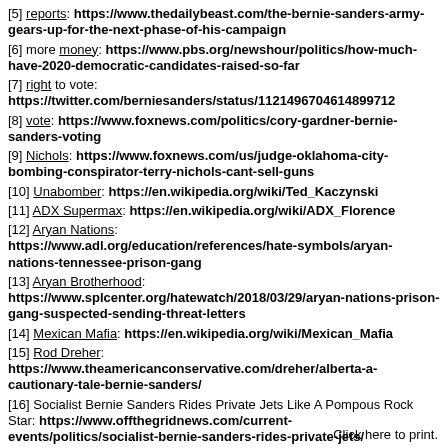[5] reports: https://www.thedailybeast.com/the-bernie-sanders-army-gears-up-for-the-next-phase-of-his-campaign
[6] more money: https://www.pbs.org/newshour/politics/how-much-have-2020-democratic-candidates-raised-so-far
[7] right to vote: https://twitter.com/berniesanders/status/1121496704614899712
[8] vote: https://www.foxnews.com/politics/cory-gardner-bernie-sanders-voting
[9] Nichols: https://www.foxnews.com/us/judge-oklahoma-city-bombing-conspirator-terry-nichols-cant-sell-guns
[10] Unabomber: https://en.wikipedia.org/wiki/Ted_Kaczynski
[11] ADX Supermax: https://en.wikipedia.org/wiki/ADX_Florence
[12] Aryan Nations: https://www.adl.org/education/references/hate-symbols/aryan-nations-tennessee-prison-gang
[13] Aryan Brotherhood: https://www.splcenter.org/hatewatch/2018/03/29/aryan-nations-prison-gang-suspected-sending-threat-letters
[14] Mexican Mafia: https://en.wikipedia.org/wiki/Mexican_Mafia
[15] Rod Dreher: https://www.theamericanconservative.com/dreher/alberta-a-cautionary-tale-bernie-sanders/
[16] Socialist Bernie Sanders Rides Private Jets Like A Pompous Rock Star: https://www.offthegridnews.com/current-events/politics/socialist-bernie-sanders-rides-private-jets/
Click here to print.